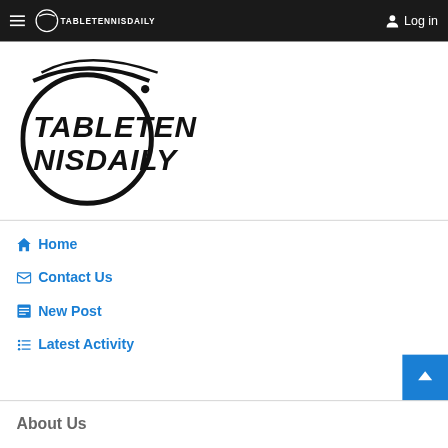TABLETENNISDAILY   Log in
[Figure (logo): TableTennisDaily logo with circular swoosh and bold text TABLETENNISDAILY]
Home
Contact Us
New Post
Latest Activity
About Us
TableTennisDaily is an online community where you can connect and share with table tennis enthusiasts from all over the world.
Our Shop